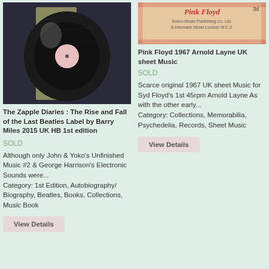[Figure (photo): Photo of a vinyl record (Beatles Apple label) partially inside a yellow sleeve, shown against a dark background]
The Zapple Diaries : The Rise and Fall of the Last Beatles Label by Barry Miles 2015 UK HB 1st edition
SOLD
Although only John & Yoko's Unfinished Music #2 & George Harrison's Electronic Sounds were... Category: 1st Edition, Autobiography/ Biography, Beatles, Books, Collections, Music Book
View Details
[Figure (photo): Photo of a 1967 Pink Floyd Arnold Layne UK sheet music cover with ornate red and cream decorative pattern design, priced 3d, published by Enero Music Publishing Co. Ltd. & Denmark Street London W.C.2.]
Pink Floyd 1967 Arnold Layne UK sheet Music
SOLD
Scarce original 1967 UK sheet Music for Syd Floyd's 1st 45rpm Arnold Layne As with the other early... Category: Collections, Memorabilia, Psychedelia, Records, Sheet Music
View Details